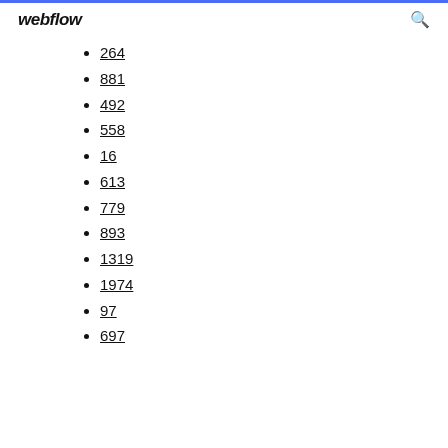webflow
264
881
492
558
16
613
779
893
1319
1974
97
697